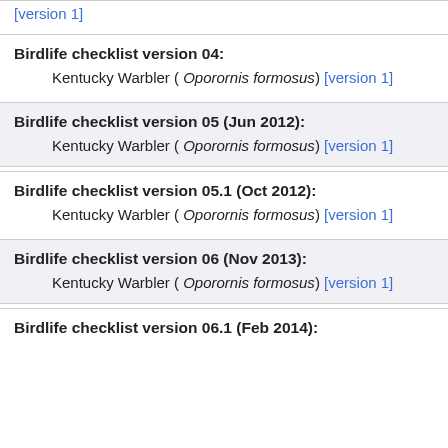[version 1]
Birdlife checklist version 04:
Kentucky Warbler ( Oporornis formosus) [version 1]
Birdlife checklist version 05 (Jun 2012):
Kentucky Warbler ( Oporornis formosus) [version 1]
Birdlife checklist version 05.1 (Oct 2012):
Kentucky Warbler ( Oporornis formosus) [version 1]
Birdlife checklist version 06 (Nov 2013):
Kentucky Warbler ( Oporornis formosus) [version 1]
Birdlife checklist version 06.1 (Feb 2014):